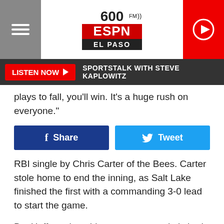600 FM ESPN EL PASO
LISTEN NOW ▶  SPORTSTALK WITH STEVE KAPLOWITZ
plays to fall, you'll win. It's a huge rush on everyone."
Share  Tweet
RBI single by Chris Carter of the Bees. Carter stole home to end the inning, as Salt Lake finished the first with a commanding 3-0 lead to start the game.
But Huffman kept his composure and pitched just over six innings, not allowing a hit after the first and struck out three batters.
"Best performance we've seen this year," Barajas said. "It